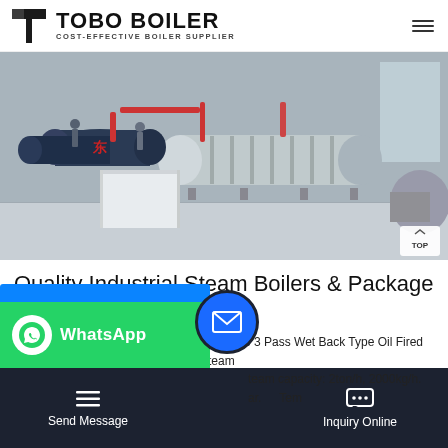TOBO BOILER — COST-EFFECTIVE BOILER SUPPLIER
[Figure (photo): Industrial boiler room with multiple large cylindrical steam boilers, pipes, and equipment inside a warehouse facility.]
Quality Industrial Steam Boilers & Package Steam Boiler
Fire Tube 3 Pass Wet Back Type Oil Fired Steam ... Steam capacity: 2ton/h, 2000kg/h. ... Temp...
Send Message | Inquiry Online